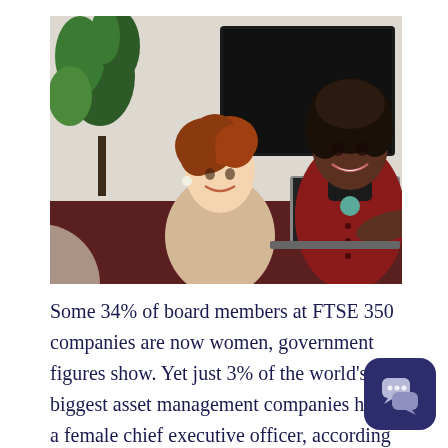[Figure (photo): Two women in a business meeting room. One woman with red curly hair sits at a table smiling, wearing a beige blouse. Another woman with natural hair stands at the end of the table wearing a red vest over a black turtleneck, smiling. A plant and dark monitor are visible in the background.]
Some 34% of board members at FTSE 350 companies are now women, government figures show. Yet just 3% of the world's 50 biggest asset management companies have a female chief executive officer, according to recruitment co Heidrick & Struggles.